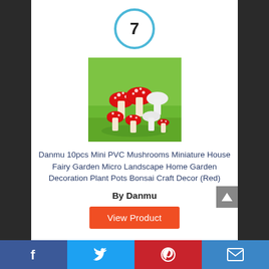7
[Figure (photo): Miniature red and white mushrooms on green grass background]
Danmu 10pcs Mini PVC Mushrooms Miniature House Fairy Garden Micro Landscape Home Garden Decoration Plant Pots Bonsai Craft Decor (Red)
By Danmu
View Product
Facebook | Twitter | Pinterest | Email